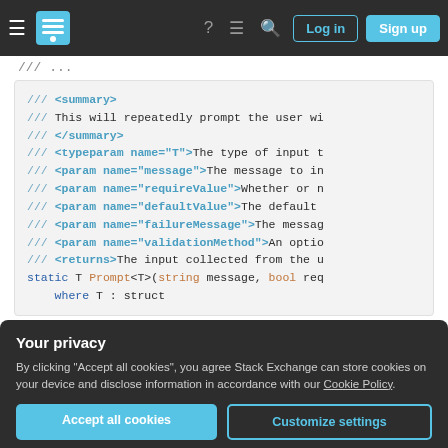Stack Exchange navigation bar with hamburger menu, logo, help, chat, search icons, Log in and Sign up buttons
/// ...
[Figure (screenshot): Code block showing C# XML documentation comments: /// <summary>, /// This will repeatedly prompt the user wi, /// </summary>, /// <typeparam name='T'>The type of input t, /// <param name='message'>The message to in, /// <param name='requireValue'>Whether or n, /// <param name='defaultValue'>The default, /// <param name='failureMessage'>The messag, /// <param name='validationMethod'>An optio, /// <returns>The input collected from the u, static T Prompt<T>(string message, bool req, where T : struct]
Your privacy
By clicking "Accept all cookies", you agree Stack Exchange can store cookies on your device and disclose information in accordance with our Cookie Policy.
Accept all cookies   Customize settings